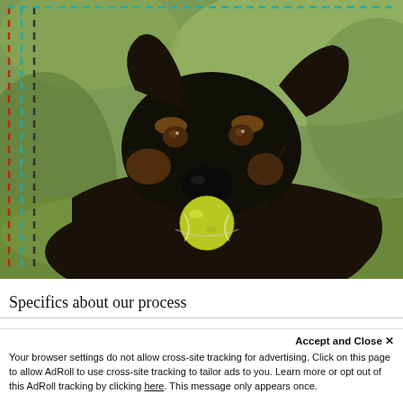[Figure (photo): A wet black and tan dog (shepherd mix) holding a yellow tennis ball in its mouth, with a blurred green background. Annotation dashed borders visible on left and top edges (red, teal, black dashed lines).]
Specifics about our process
Accept and Close ✕
Your browser settings do not allow cross-site tracking for advertising. Click on this page to allow AdRoll to use cross-site tracking to tailor ads to you. Learn more or opt out of this AdRoll tracking by clicking here. This message only appears once.